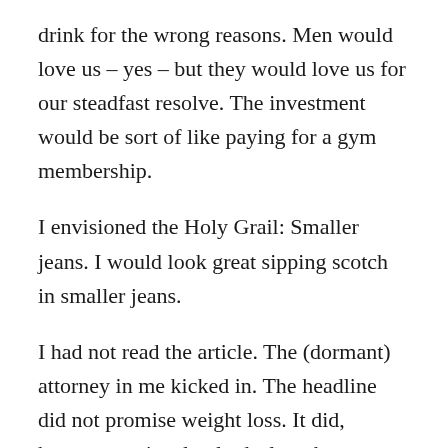drink for the wrong reasons. Men would love us – yes – but they would love us for our steadfast resolve. The investment would be sort of like paying for a gym membership.
I envisioned the Holy Grail: Smaller jeans. I would look great sipping scotch in smaller jeans.
I had not read the article. The (dormant) attorney in me kicked in. The headline did not promise weight loss. It did, however, quite clearly declare that drinkers would gain less weight. I adjusted my enthusiasm accordingly.